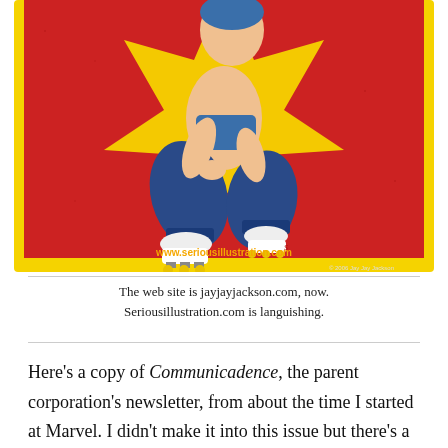[Figure (illustration): Comic-style pin-up illustration of a woman in blue jeans and white roller skates, kneeling on a red background with a yellow star shape. She wears a blue top and has her hair tied up with a blue scarf. Text at the bottom reads 'www.seriousillustration.com'. The image has a yellow border.]
The web site is jayjayjackson.com, now. Seriousillustration.com is languishing.
Here's a copy of Communicadence, the parent corporation's newsletter, from about the time I started at Marvel. I didn't make it into this issue but there's a nice